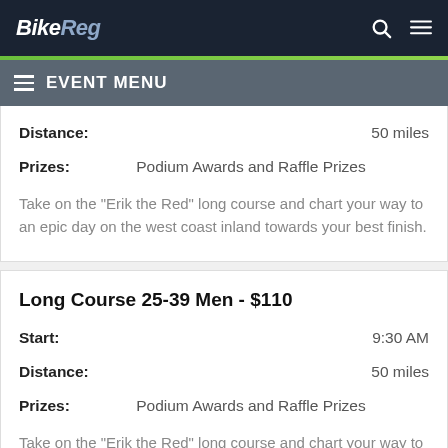BikeReg — EVENT MENU
Distance: 50 miles
Prizes: Podium Awards and Raffle Prizes
Take on the "Erik the Red" long course and chart your way to an epic day on the west coast inland towards your best finish.
Long Course 25-39 Men - $110
Start: 9:30 AM
Distance: 50 miles
Prizes: Podium Awards and Raffle Prizes
Take on the "Erik the Red" long course and chart your way to an epic day on the west coast inland towards